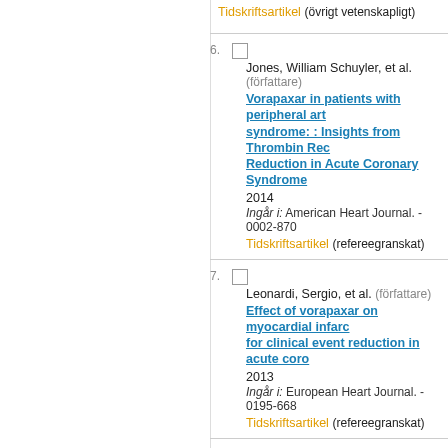Tidskriftsartikel (övrigt vetenskapligt)
6. Jones, William Schuyler, et al. (författare) Vorapaxar in patients with peripheral art... syndrome: : Insights from Thrombin Rec... Reduction in Acute Coronary Syndrome... 2014 Ingår i: American Heart Journal. - 0002-870... Tidskriftsartikel (refereegranskat)
7. Leonardi, Sergio, et al. (författare) Effect of vorapaxar on myocardial infarc... for clinical event reduction in acute coro... 2013 Ingår i: European Heart Journal. - 0195-668... Tidskriftsartikel (refereegranskat)
8. Mahaffey, Kenneth W., et al. (författare) Association of Aspirin Dose and Vorapa... Non-ST-Segment Elevation Acute Coron... 2014 Ingår i: American Journal of Cardiology. - 0... Tidskriftsartikel (refereegranskat)
9. Mahaffey, Kenneth W., et al. (författare) Comparison of Clinical Trial Outcome Pa...